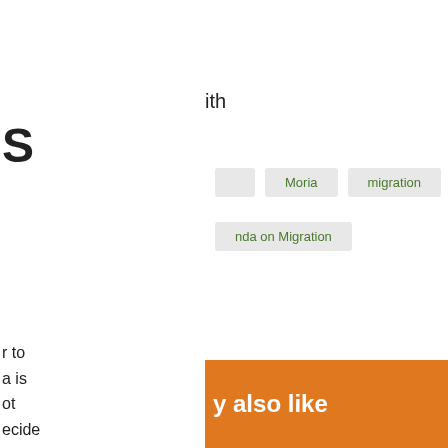S
ith
Moria
migration
nda on Migration
r to
a is
ot
ecide
Donate
Facebook
Twitter
LinkedIn
es
y also like